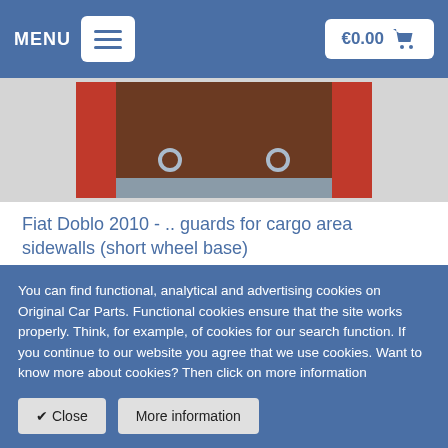MENU  €0.00
[Figure (photo): Fiat Doblo cargo area interior showing brown floor liner with red side panels and metal hooks]
Fiat Doblo 2010 - .. guards for cargo area sidewalls (short wheel base)
Not suitable for versions with loading system or side windows.
You can find functional, analytical and advertising cookies on Original Car Parts. Functional cookies ensure that the site works properly. Think, for example, of cookies for our search function. If you continue to our website you agree that we use cookies. Want to know more about cookies? Then click on more information
✔ Close    More information